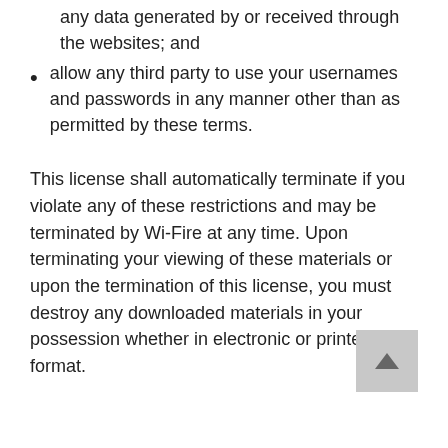any data generated by or received through the websites; and
allow any third party to use your usernames and passwords in any manner other than as permitted by these terms.
This license shall automatically terminate if you violate any of these restrictions and may be terminated by Wi-Fire at any time. Upon terminating your viewing of these materials or upon the termination of this license, you must destroy any downloaded materials in your possession whether in electronic or printed format.
4. Risk, loss or damages
You hereby agree that subject to applicable law, Wi-Fire will not be liable for